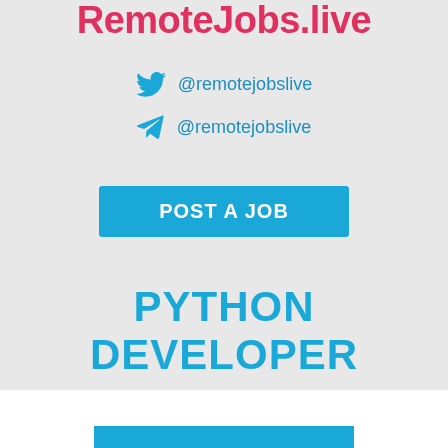RemoteJobs.live
@remotejobslive
@remotejobslive
POST A JOB
PYTHON DEVELOPER